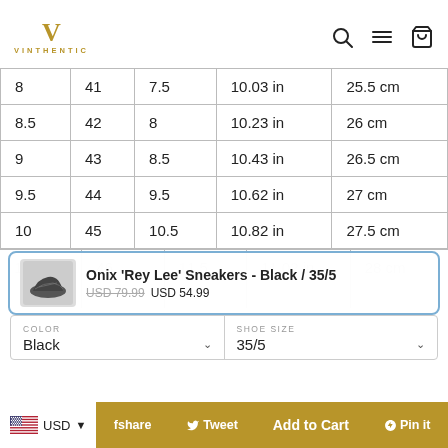[Figure (logo): Vinthentic logo — gold V with VINTHENTIC text below]
| 8 | 41 | 7.5 | 10.03 in | 25.5 cm |
| 8.5 | 42 | 8 | 10.23 in | 26 cm |
| 9 | 43 | 8.5 | 10.43 in | 26.5 cm |
| 9.5 | 44 | 9.5 | 10.62 in | 27 cm |
| 10 | 45 | 10.5 | 10.82 in | 27.5 cm |
[Figure (photo): Onix Rey Lee black sneaker product thumbnail]
Onix 'Rey Lee' Sneakers - Black / 35/5
USD 79.99  USD 54.99
COLOR
Black
SHOE SIZE
35/5
USD  Share  Add to Cart  Pin it